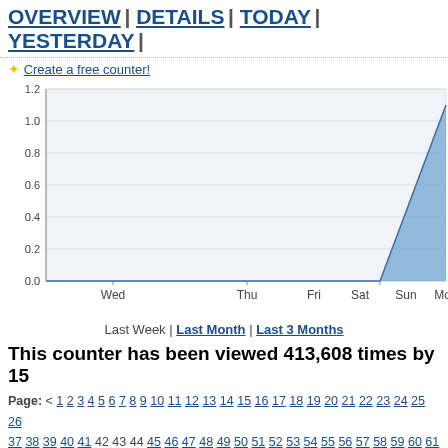OVERVIEW | DETAILS | TODAY | YESTERDAY |
✦ Create a free counter!
[Figure (area-chart): Last Week visits]
This counter has been viewed 413,608 times by 15
Page: < 1 2 3 4 5 6 7 8 9 10 11 12 13 14 15 16 17 18 19 20 21 22 23 24 25 26 37 38 39 40 41 42 43 44 45 46 47 48 49 50 51 52 53 54 55 56 57 58 59 60 61 72 73 74 75 76 77 78 79 80 81 82 83 84 85 86 87 88 89 90 91 92 93 94 95 96
| Date | Vis |
| --- | --- |
| April 4, 2015 | 131 |